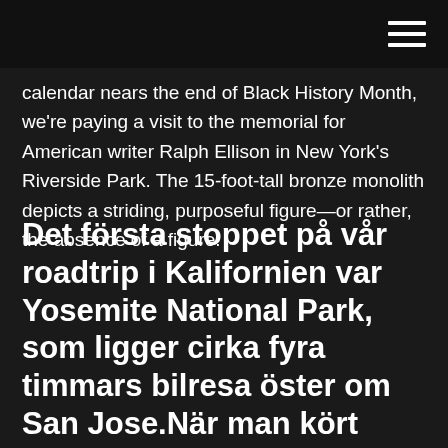[navigation bar with hamburger menu]
calendar nears the end of Black History Month, we're paying a visit to the memorial for American writer Ralph Ellison in New York's Riverside Park. The 15-foot-tall bronze monolith depicts a striding, purposeful figure—or rather, the absence of a figure.
Det första stoppet på vår roadtrip i Kalifornien var Yosemite National Park, som ligger cirka fyra timmars bilresa öster om San Jose.När man kört genom ett varierande landskap av höglandsplatåer, odlingsfält och skog och tagit sig uppför den